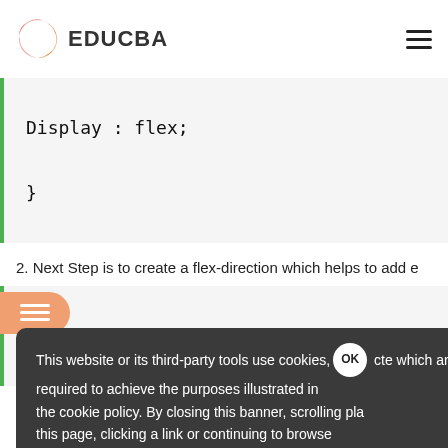EDUCBA
2. Next Step is to create a flex-direction which helps to add e
This website or its third-party tools use cookies, which are necessary to its functioning and required to achieve the purposes illustrated in the cookie policy. By closing this banner, scrolling this page, clicking a link or continuing to browse otherwise, you agree to our Privacy Policy
the flex items horizontally by which the items row